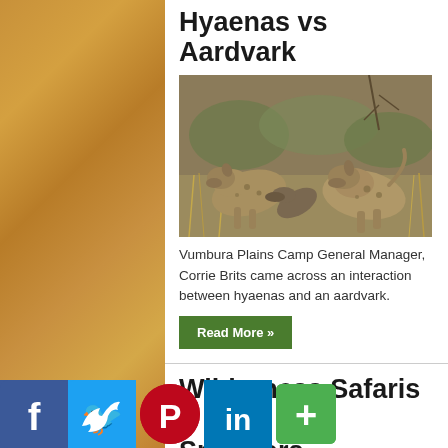Hyaenas vs Aardvark
[Figure (photo): Two spotted hyenas interacting with an aardvark on dry grassland savanna]
Vumbura Plains Camp General Manager, Corrie Brits came across an interaction between hyaenas and an aardvark.
Read More »
Wilderness Safaris – Sponsors 'Visionary' Humanitarian Project